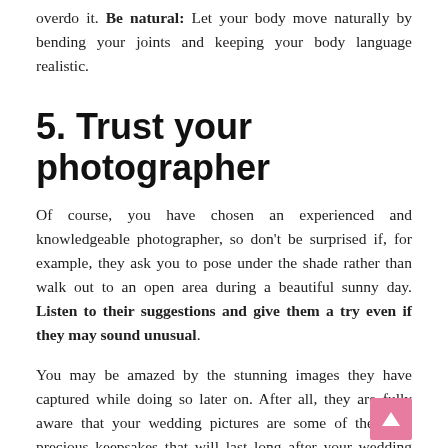overdo it. Be natural: Let your body move naturally by bending your joints and keeping your body language realistic.
5. Trust your photographer
Of course, you have chosen an experienced and knowledgeable photographer, so don't be surprised if, for example, they ask you to pose under the shade rather than walk out to an open area during a beautiful sunny day. Listen to their suggestions and give them a try even if they may sound unusual.
You may be amazed by the stunning images they have captured while doing so later on. After all, they are fully aware that your wedding pictures are some of the most precious keepsakes that will last long after your wedding day, so they understand how perfectly you want them to turn out.